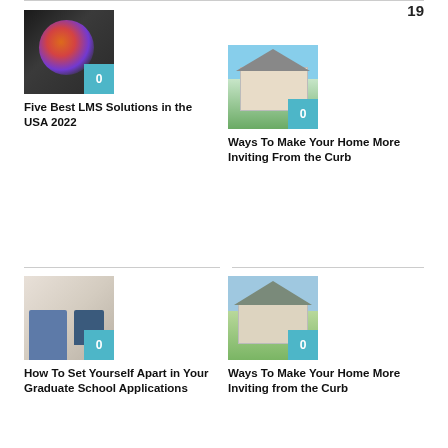19
[Figure (photo): MRI brain scan with highlighted area in orange/red]
Five Best LMS Solutions in the USA 2022
[Figure (photo): Suburban house with green lawn and blue sky]
Ways To Make Your Home More Inviting From the Curb
[Figure (photo): Students in a classroom setting]
How To Set Yourself Apart in Your Graduate School Applications
[Figure (photo): Suburban house with green lawn and blue sky]
Ways To Make Your Home More Inviting from the Curb